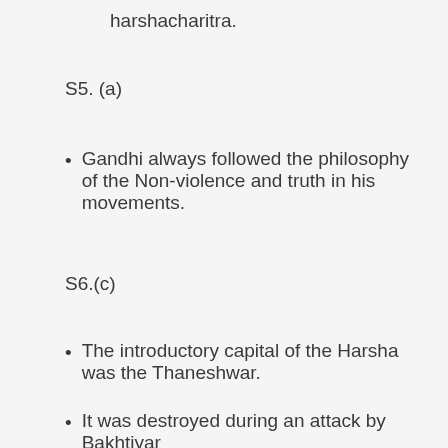harshacharitra.
S5. (a)
Gandhi always followed the philosophy of the Non-violence and truth in his movements.
S6.(c)
The introductory capital of the Harsha was the Thaneshwar.
It was destroyed during an attack by Bakhtiyar